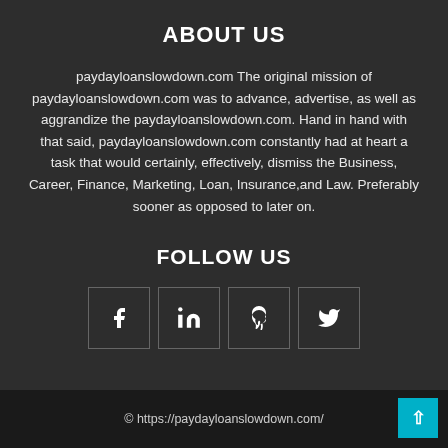ABOUT US
paydayloanslowdown.com The original mission of paydayloanslowdown.com was to advance, advertise, as well as aggrandize the paydayloanslowdown.com. Hand in hand with that said, paydayloanslowdown.com constantly had at heart a task that would certainly, effectively, dismiss the Business, Career, Finance, Marketing, Loan, Insurance,and Law. Preferably sooner as opposed to later on.
FOLLOW US
[Figure (infographic): Four social media icon boxes in a row: Facebook (f), LinkedIn (in), Pinterest (p), Twitter (bird icon)]
© https://paydayloanslowdown.com/